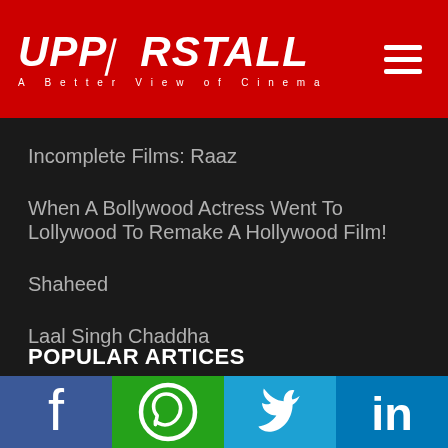UPPERSTALL - A Better View of Cinema
Incomplete Films: Raaz
When A Bollywood Actress Went To Lollywood To Remake A Hollywood Film!
Shaheed
Laal Singh Chaddha
Baaz
Borderlands
POPULAR ARTICES
Facebook | WhatsApp | Twitter | LinkedIn